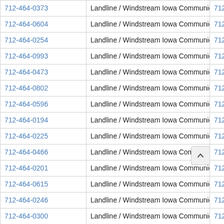| Phone | Type / Carrier | Area |
| --- | --- | --- |
| 712-464-0373 | Landline / Windstream Iowa Communications - North | 712- |
| 712-464-0604 | Landline / Windstream Iowa Communications - North | 712- |
| 712-464-0254 | Landline / Windstream Iowa Communications - North | 712- |
| 712-464-0993 | Landline / Windstream Iowa Communications - North | 712- |
| 712-464-0473 | Landline / Windstream Iowa Communications - North | 712- |
| 712-464-0802 | Landline / Windstream Iowa Communications - North | 712- |
| 712-464-0596 | Landline / Windstream Iowa Communications - North | 712- |
| 712-464-0194 | Landline / Windstream Iowa Communications - North | 712- |
| 712-464-0225 | Landline / Windstream Iowa Communications - North | 712- |
| 712-464-0466 | Landline / Windstream Iowa Communications - North | 712- |
| 712-464-0201 | Landline / Windstream Iowa Communications - North | 712- |
| 712-464-0615 | Landline / Windstream Iowa Communications - North | 712- |
| 712-464-0246 | Landline / Windstream Iowa Communications - North | 712- |
| 712-464-0300 | Landline / Windstream Iowa Communications - North | 712- |
| 712-464-0888 | Landline / Windstream Iowa Communications - North | 712- |
| 712-464-0886 | Landline / Windstream Iowa Communications - North | 12- |
| 712-464-0897 | Landline / Windstream Iowa Communications - North | 712- |
| 712-464-0871 | Landline / Windstream Iowa Communications - North | 712- |
| 712-464-0037 | Landline / Windstream Iowa Communications - North | 712- |